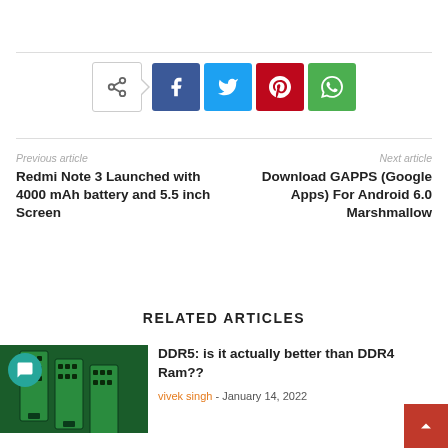[Figure (other): Social share buttons: native share, Facebook, Twitter, Pinterest, WhatsApp]
Previous article
Redmi Note 3 Launched with 4000 mAh battery and 5.5 inch Screen
Next article
Download GAPPS (Google Apps) For Android 6.0 Marshmallow
RELATED ARTICLES
[Figure (photo): Photo of green DDR RAM sticks]
DDR5: is it actually better than DDR4 Ram??
vivek singh - January 14, 2022